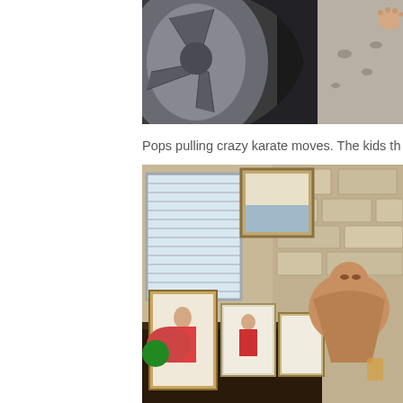[Figure (photo): Close-up photo of a car wheel/tire on the left, and bare feet on concrete/asphalt surface on the right]
Pops pulling crazy karate moves. The kids th
[Figure (photo): Indoor photo of an older shirtless man in a living room with stone fireplace, framed photos on a cabinet, artwork on wall, and window with blinds]